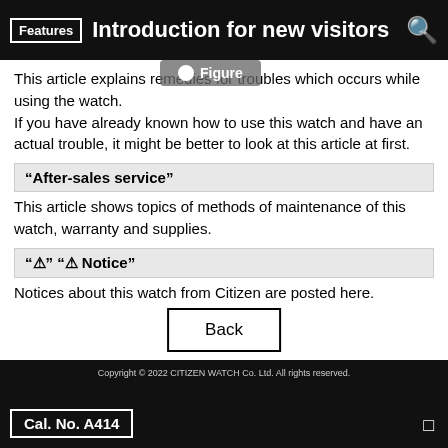Features  Introduction for new visitors
[Figure (other): Figure tag overlay button]
This article explains remedies for troubles which occurs while using the watch.
If you have already known how to use this watch and have an actual trouble, it might be better to look at this article at first.
“After-sales service”
This article shows topics of methods of maintenance of this watch, warranty and supplies.
“⚠” “⚠ Notice”
Notices about this watch from Citizen are posted here.
Back
Copyright © 2022 CITIZEN WATCH Co. Ltd. All rights reserved.
Cal. No. A414